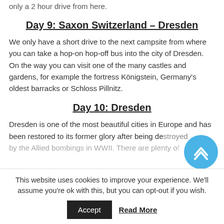only a 2 hour drive from here.
Day 9: Saxon Switzerland – Dresden
We only have a short drive to the next campsite from where you can take a hop-on hop-off bus into the city of Dresden. On the way you can visit one of the many castles and gardens, for example the fortress Königstein, Germany's oldest barracks or Schloss Pillnitz.
Day 10: Dresden
Dresden is one of the most beautiful cities in Europe and has been restored to its former glory after being destroyed by the Allied bombings in WWII. There are plenty of
This website uses cookies to improve your experience. We'll assume you're ok with this, but you can opt-out if you wish.